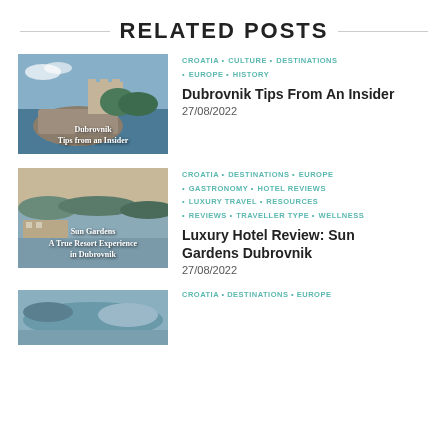RELATED POSTS
[Figure (photo): Photo of Dubrovnik coastline with castle/fortress and text overlay 'Dubrovnik Tips from an Insider']
CROATIA • CULTURE • DESTINATIONS • EUROPE • HISTORY
Dubrovnik Tips From An Insider
27/08/2022
[Figure (photo): Aerial photo of Sun Gardens resort in Dubrovnik with sea and islands, text overlay 'Sun Gardens A True Resort Experience in Dubrovnik']
CROATIA • DESTINATIONS • EUROPE • GASTRONOMY • HOTEL REVIEWS • LUXURY TRAVEL • RESOURCES • REVIEWS • TRAVELLER TYPE • WELLNESS
Luxury Hotel Review: Sun Gardens Dubrovnik
27/08/2022
[Figure (photo): Partial photo of Croatia destination, partially visible at bottom]
CROATIA • DESTINATIONS • EUROPE